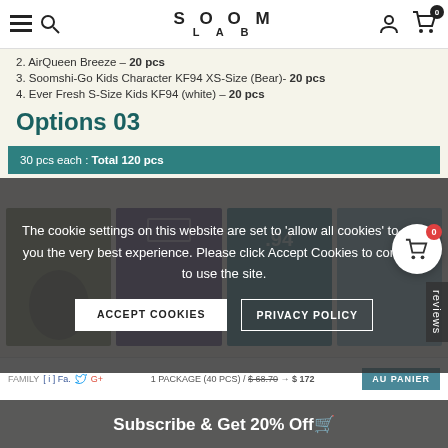SOOM LAB — navigation bar with menu, search, logo, user, cart (0)
2. AirQueen Breeze – 20 pcs
3. Soomshi-Go Kids Character KF94 XS-Size (Bear)- 20 pcs
4. Ever Fresh S-Size Kids KF94 (white) – 20 pcs
Options 03
30 pcs each : Total 120 pcs
[Figure (photo): Four product package images in a row for Kids KF94 masks]
The cookie settings on this website are set to 'allow all cookies' to give you the very best experience. Please click Accept Cookies to continue to use the site.
ACCEPT COOKIES | PRIVACY POLICY
1 PACKAGE (40 PCS) / $ 68.70 → $ 172 AU PANIER
Subscribe & Get 20% Off🛒